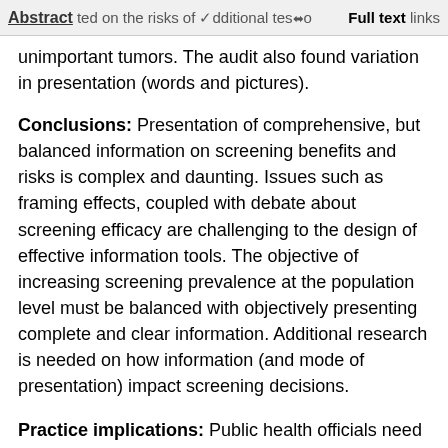Abstract | additional tests | Full text links
unimportant tumors. The audit also found variation in presentation (words and pictures).
Conclusions: Presentation of comprehensive, but balanced information on screening benefits and risks is complex and daunting. Issues such as framing effects, coupled with debate about screening efficacy are challenging to the design of effective information tools. The objective of increasing screening prevalence at the population level must be balanced with objectively presenting complete and clear information. Additional research is needed on how information (and mode of presentation) impact screening decisions.
Practice implications: Public health officials need to articulate their objectives and review written communication according to important decision-making domains.